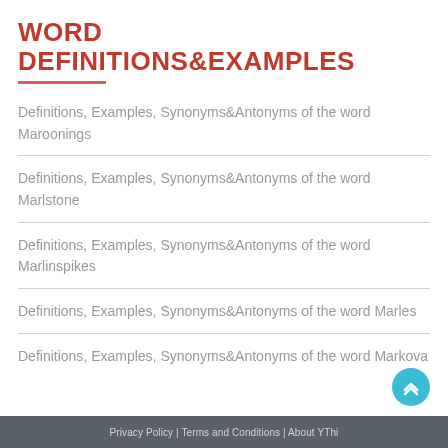WORD DEFINITIONS&EXAMPLES
Definitions, Examples, Synonyms&Antonyms of the word Maroonings
Definitions, Examples, Synonyms&Antonyms of the word Marlstone
Definitions, Examples, Synonyms&Antonyms of the word Marlinspikes
Definitions, Examples, Synonyms&Antonyms of the word Marles
Definitions, Examples, Synonyms&Antonyms of the word Markova
Privacy Policy | Terms and Conditions | About YThi